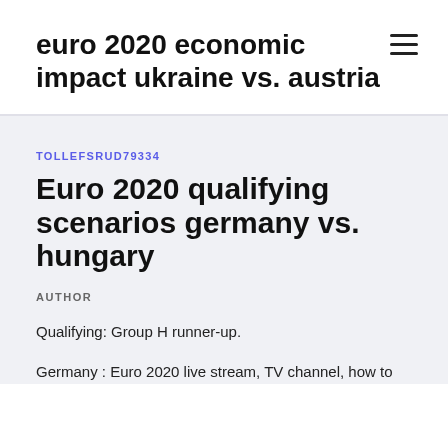euro 2020 economic impact ukraine vs. austria
TOLLEFSRUD79334
Euro 2020 qualifying scenarios germany vs. hungary
AUTHOR
Qualifying: Group H runner-up.
Germany : Euro 2020 live stream, TV channel, how to